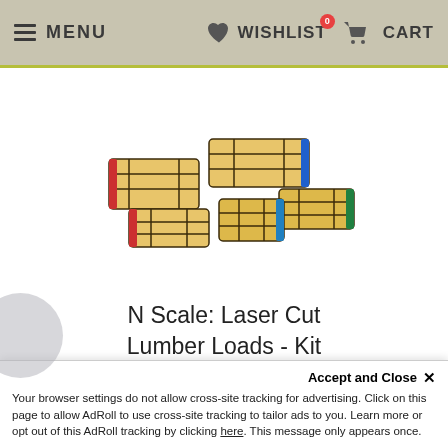MENU  WISHLIST  CART
[Figure (photo): Stack of miniature wooden lumber loads (N scale model train accessories), laser cut, arranged in a group, natural wood color with dark binding straps and colored end caps (red, blue, green)]
N Scale: Laser Cut Lumber Loads - Kit
★★★★★ 5 reviews
TrainLife.com
from $ 0.69  $ 1.79
Accept and Close ✕
Your browser settings do not allow cross-site tracking for advertising. Click on this page to allow AdRoll to use cross-site tracking to tailor ads to you. Learn more or opt out of this AdRoll tracking by clicking here. This message only appears once.